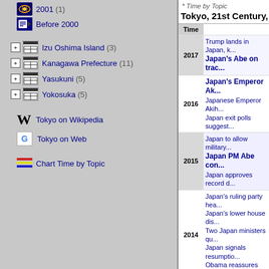2001 (1)
Before 2000
Izu Oshima Island (3)
Kanagawa Prefecture (11)
Yasukuni (5)
Yokosuka (5)
Tokyo on Wikipedia
Tokyo on Web
Chart Time by Topic
* Time by Topic
Tokyo, 21st Century, Ti...
| Time |  |
| --- | --- |
| 2017 | Trump lands in Japan, k...
Japan's Abe on trac... |
| 2016 | Japan's Emperor Ak...
Japanese Emperor Akh...
Japan exit polls suggest... |
| 2015 | Japan to allow military...
Japan PM Abe con...
Japan approves record d... |
| 2014 | Japan's ruling party hea...
Japan's lower house dis...
Two Japan ministers qu...
Japan signals resumptio...
Obama reassures Japan... |
|  | China condemns J...
Japan PM visit... |